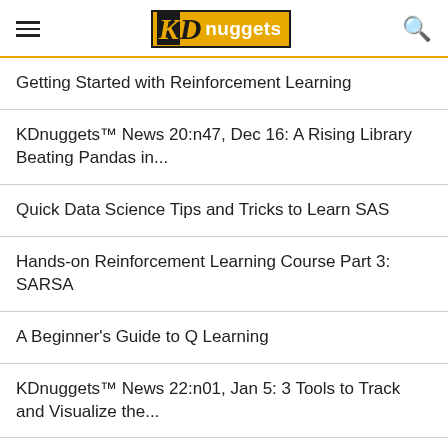KDnuggets
Getting Started with Reinforcement Learning
KDnuggets™ News 20:n47, Dec 16: A Rising Library Beating Pandas in...
Quick Data Science Tips and Tricks to Learn SAS
Hands-on Reinforcement Learning Course Part 3: SARSA
A Beginner's Guide to Q Learning
KDnuggets™ News 22:n01, Jan 5: 3 Tools to Track and Visualize the...